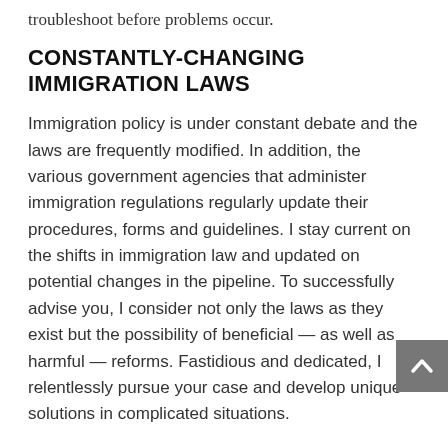troubleshoot before problems occur.
CONSTANTLY-CHANGING IMMIGRATION LAWS
Immigration policy is under constant debate and the laws are frequently modified. In addition, the various government agencies that administer immigration regulations regularly update their procedures, forms and guidelines. I stay current on the shifts in immigration law and updated on potential changes in the pipeline. To successfully advise you, I consider not only the laws as they exist but the possibility of beneficial — as well as harmful — reforms. Fastidious and dedicated, I relentlessly pursue your case and develop unique solutions in complicated situations.
Contact a Florida immigration lawyer who can help you
Call Exposito Law Group P.A. at 786-333-3073 or contact me